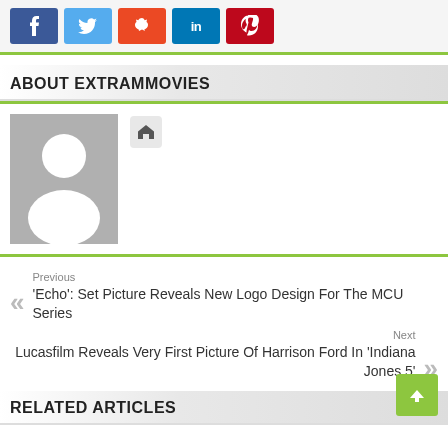[Figure (infographic): Social media share buttons: Facebook (blue), Twitter (light blue), StumbleUpon (orange-red), LinkedIn (blue), Pinterest (red)]
ABOUT EXTRAMOVIES
[Figure (photo): Default avatar placeholder image (grey background with white silhouette person icon) next to a home icon button]
Previous
'Echo': Set Picture Reveals New Logo Design For The MCU Series
Next
Lucasfilm Reveals Very First Picture Of Harrison Ford In 'Indiana Jones 5'
RELATED ARTICLES